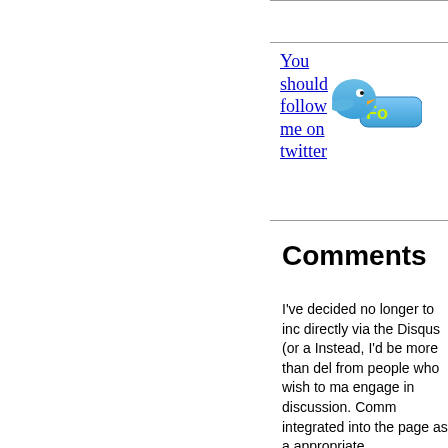[Figure (illustration): Twitter follow button with blue bird mascot and 'Fo' text visible, alongside a 'You should follow me on twitter' link]
Comments
I've decided no longer to inc directly via the Disqus (or a Instead, I'd be more than del from people who wish to ma engage in discussion. Comm integrated into the page as a appropriate.
If the number of emails/com large to handle then I might automated system. That's lo unlikely.